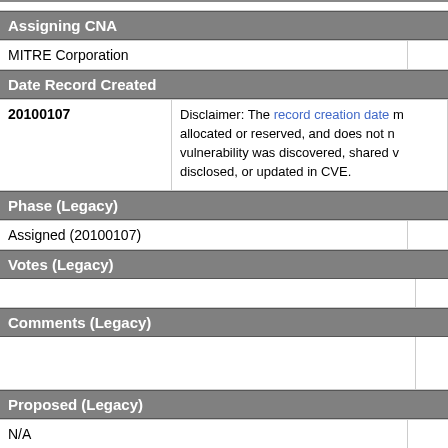Assigning CNA
| Assigning CNA |  |
| --- | --- |
| MITRE Corporation |  |
Date Record Created
| Date | Disclaimer |
| --- | --- |
| 20100107 | Disclaimer: The record creation date may reflect when the CVE ID was allocated or reserved, and does not necessarily indicate when this vulnerability was discovered, shared with the affected vendor, publicly disclosed, or updated in CVE. |
Phase (Legacy)
| Phase |  |
| --- | --- |
| Assigned (20100107) |  |
Votes (Legacy)
| Votes |  |
| --- | --- |
|  |  |
Comments (Legacy)
| Comments |  |
| --- | --- |
|  |  |
Proposed (Legacy)
| Proposed |  |
| --- | --- |
| N/A |  |
This is a record on the CVE List, which provides common identifiers for pu...
SEARCH CVE USING KEYWORDS:
You can also search by reference using the CVE Reference Maps.
For More Information: CVE Request Web Form (select "Other"